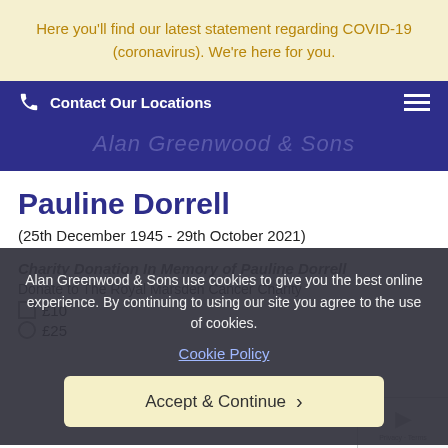Here you'll find our latest statement regarding COVID-19 (coronavirus). We're here for you.
Contact Our Locations
Alan Greenwood & Sons
Pauline Dorrell
(25th December 1945 - 29th October 2021)
Charity Donation In Memory of Pauline Dorrell
Donate to The Royal Marsden Cancer Charity
£10
£25
Alan Greenwood & Sons use cookies to give you the best online experience. By continuing to using our site you agree to the use of cookies.
Cookie Policy
Accept & Continue